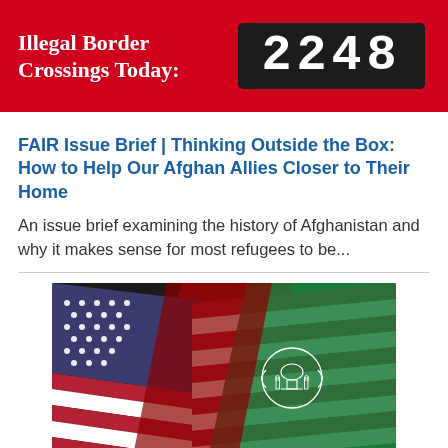Illegal Border Crossings Today: 2248
FAIR Issue Brief | Thinking Outside the Box:  How to Help Our Afghan Allies Closer to Their Home
An issue brief examining the history of Afghanistan and why it makes sense for most refugees to be...
[Figure (photo): American flag and Afghan flag overlapping, draped fabric style photo]